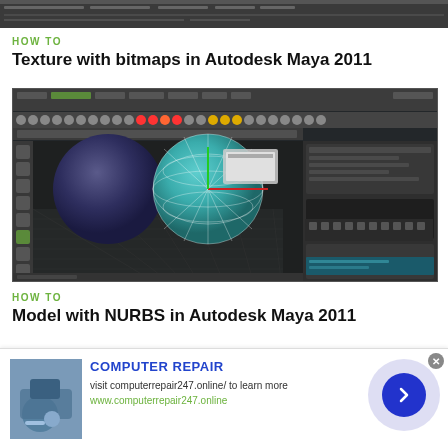[Figure (screenshot): Autodesk Maya 2011 software interface screenshot - top strip]
HOW TO
Texture with bitmaps in Autodesk Maya 2011
[Figure (screenshot): Autodesk Maya 2011 interface showing two 3D spheres - one dark blue/purple matte and one teal with wireframe grid overlay, in a 3D modeling viewport with toolbars]
HOW TO
Model with NURBS in Autodesk Maya 2011
[Figure (infographic): Advertisement banner for Computer Repair 247 with computer repair image, text and arrow button]